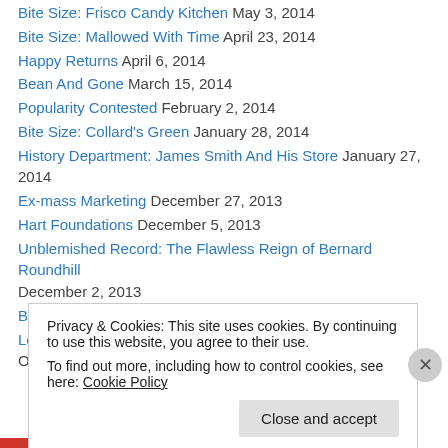Bite Size: Frisco Candy Kitchen May 3, 2014
Bite Size: Mallowed With Time April 23, 2014
Happy Returns April 6, 2014
Bean And Gone March 15, 2014
Popularity Contested February 2, 2014
Bite Size: Collard's Green January 28, 2014
History Department: James Smith And His Store January 27, 2014
Ex-mass Marketing December 27, 2013
Hart Foundations December 5, 2013
Unblemished Record: The Flawless Reign of Bernard Roundhill December 2, 2013
Bite Size: The Sugar Boiler November 7, 2013
Leaving a Legacy: Denne Drinks and Peter Pan Ice Cream October 29, 2013
Privacy & Cookies: This site uses cookies. By continuing to use this website, you agree to their use. To find out more, including how to control cookies, see here: Cookie Policy
Close and accept